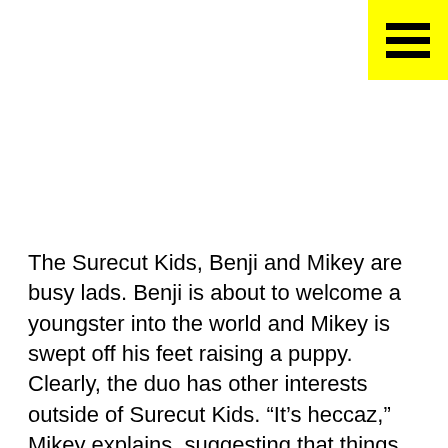[Figure (other): Yellow square button with three horizontal black bars (hamburger/menu icon) in the top-right corner]
The Surecut Kids, Benji and Mikey are busy lads. Benji is about to welcome a youngster into the world and Mikey is swept off his feet raising a puppy. Clearly, the duo has other interests outside of Surecut Kids. “It’s heccaz,” Mikey explains, suggesting that things are hectic, I suspect. “But in a good way,” he adds, as if to rebut himself. With that, RK gets the low down from the lads on their love of hip hop and how they came to find themselves in music ahead of their gig at Death